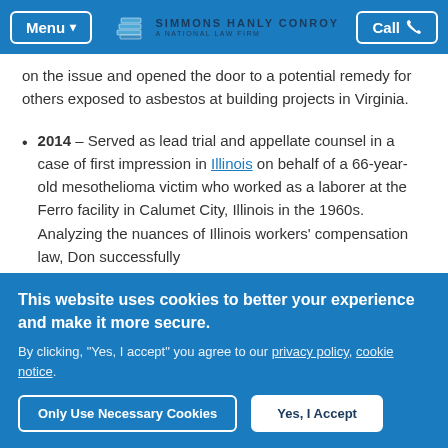Menu | SIMMONS HANLY CONROY A NATIONAL LAW FIRM | Call
on the issue and opened the door to a potential remedy for others exposed to asbestos at building projects in Virginia.
2014 – Served as lead trial and appellate counsel in a case of first impression in Illinois on behalf of a 66-year-old mesothelioma victim who worked as a laborer at the Ferro facility in Calumet City, Illinois in the 1960s. Analyzing the nuances of Illinois workers' compensation law, Don successfully
This website uses cookies to better your experience and make it more secure.
By clicking, "Yes, I accept" you agree to our privacy policy, cookie notice.
Only Use Necessary Cookies | Yes, I Accept